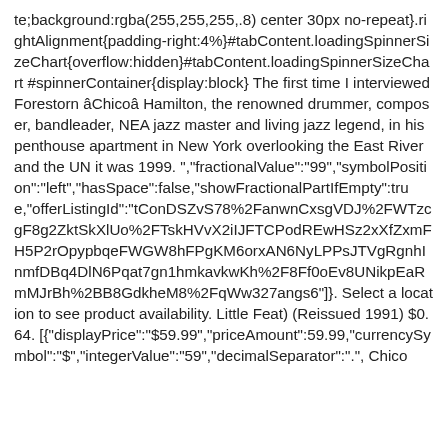te;background:rgba(255,255,255,.8) center 30px no-repeat}.rightAlignment{padding-right:4%}#tabContent.loadingSpinnerSizeChart{overflow:hidden}#tabContent.loadingSpinnerSizeChart #spinnerContainer{display:block} The first time I interviewed Forestorn âChicoâ Hamilton, the renowned drummer, composer, bandleader, NEA jazz master and living jazz legend, in his penthouse apartment in New York overlooking the East River and the UN it was 1999. ","fractionalValue":"99","symbolPosition":"left","hasSpace":false,"showFractionalPartIfEmpty":true,"offerListingId":"tConDSZvS78%2FanwnCxsgVDJ%2FWTzcgF8g2ZktSkXlUo%2FTskHVvX2iIJFTCPodREwHSz2xXfZxmFH5P2rOpypbqeFWGW8hFPgKM6orxAN6NyLPPsJTVgRgnhInmfDBq4DlN6Pqat7gn1hmkavkwKh%2F8Ff0oEv8UNikpEaRmMJrBh%2BB8GdkheM8%2FqWw327angs6"]}. Select a location to see product availability. Little Feat) (Reissued 1991) $0.64. [{"displayPrice":"$59.99","priceAmount":59.99,"currencySymbol":"$","integerValue":"59","decimalSeparator":".", Chico